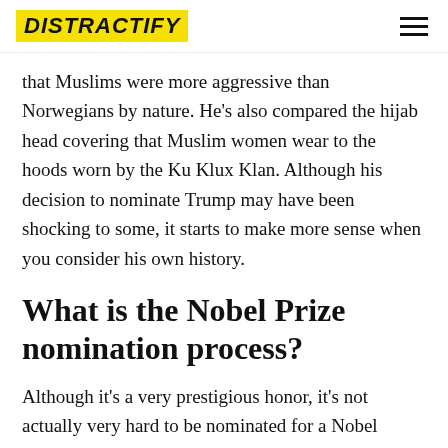DISTRACTIFY
that Muslims were more aggressive than Norwegians by nature. He's also compared the hijab head covering that Muslim women wear to the hoods worn by the Ku Klux Klan. Although his decision to nominate Trump may have been shocking to some, it starts to make more sense when you consider his own history.
What is the Nobel Prize nomination process?
Although it's a very prestigious honor, it's not actually very hard to be nominated for a Nobel Peace Prize. Any member of a national assembly or national government is allowed to nominate someone for the award, so Trump's